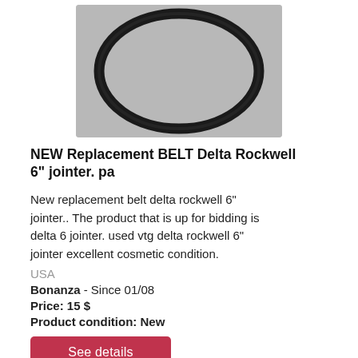[Figure (photo): Photograph of a black rubber belt shaped in a circular/oval ring, shown on a gray background.]
NEW Replacement BELT Delta Rockwell 6" jointer. pa
New replacement belt delta rockwell 6" jointer.. The product that is up for bidding is delta 6 jointer. used vtg delta rockwell 6" jointer excellent cosmetic condition.
USA
Bonanza  - Since 01/08
Price: 15 $
Product condition: New
See details